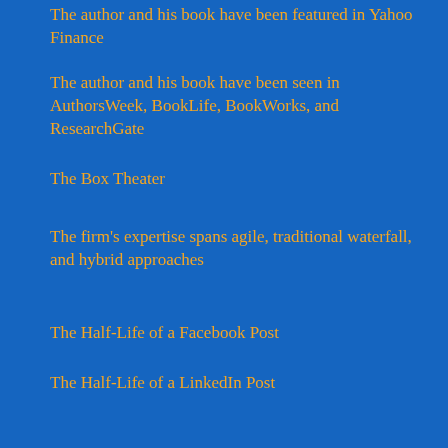The author and his book have been featured in Yahoo Finance
The author and his book have been seen in AuthorsWeek, BookLife, BookWorks, and ResearchGate
The Box Theater
The firm's expertise spans agile, traditional waterfall, and hybrid approaches
The Half-Life of a Facebook Post
The Half-Life of a LinkedIn Post
The Half-Life of a Pinterest Post
The Half-Life of a Tweet
The Holiday Very Nice List